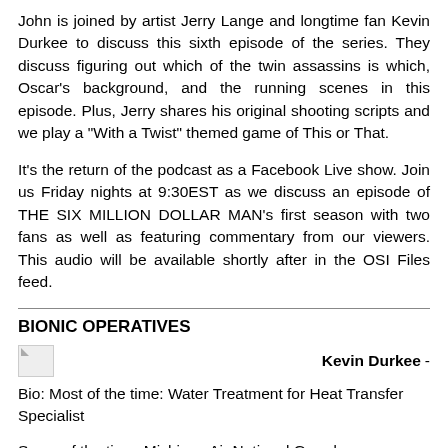John is joined by artist Jerry Lange and longtime fan Kevin Durkee to discuss this sixth episode of the series.  They discuss figuring out which of the twin assassins is which, Oscar's background, and the running scenes in this episode.  Plus, Jerry shares his original shooting scripts and we play a "With a Twist" themed game of This or That.
It's the return of the podcast as a Facebook Live show.  Join us Friday nights at 9:30EST as we discuss an episode of THE SIX MILLION DOLLAR MAN's first season with two fans as well as featuring commentary from our viewers.  This audio will be available shortly after in the OSI Files feed.
BIONIC OPERATIVES
[Figure (photo): Small broken/placeholder image icon on the left, followed by the name Kevin Durkee and a dash on the right]
Bio: Most of the time: Water Treatment for Heat Transfer Specialist
Some of the time: Michigan Air National Guard